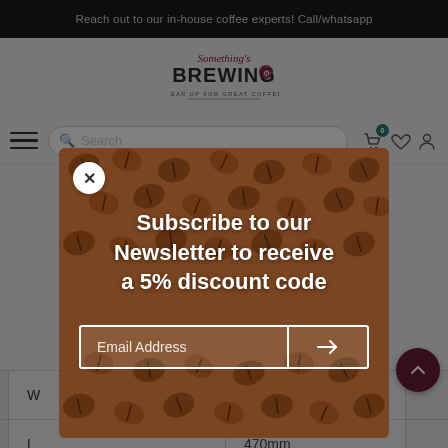Reach out to our in-house coffee experts! Call/whatsapp
[Figure (logo): Something's Brewing logo - gear up for great coffee]
Search
[Figure (other): Newsletter subscription modal with coffee beans background. Text: Subscribe to our Newsletter to receive a 5% discount code. Email Address input field with arrow submit button.]
| W | 180 mm |
| L | 470mm |